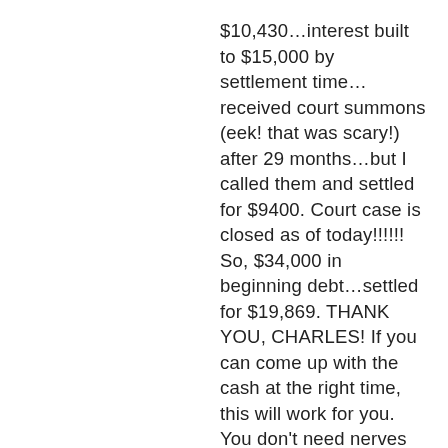$10,430…interest built to $15,000 by settlement time…received court summons (eek! that was scary!) after 29 months…but I called them and settled for $9400. Court case is closed as of today!!!!!! So, $34,000 in beginning debt…settled for $19,869. THANK YOU, CHARLES! If you can come up with the cash at the right time, this will work for you. You don't need nerves of steel, either, because I certainly do not have that! Funny enough, my credit score is still in the mid 600's, even though I haven't made a card payment since 2006! Not that I care too much. I'm just thrilled to be out from under that debt. Have one card left for $6000 and